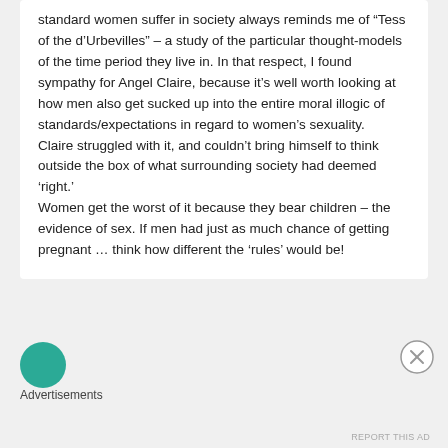standard women suffer in society always reminds me of "Tess of the d'Urbevilles" – a study of the particular thought-models of the time period they live in. In that respect, I found sympathy for Angel Claire, because it's well worth looking at how men also get sucked up into the entire moral illogic of standards/expectations in regard to women's sexuality.
Claire struggled with it, and couldn't bring himself to think outside the box of what surrounding society had deemed 'right.'
Women get the worst of it because they bear children – the evidence of sex. If men had just as much chance of getting pregnant … think how different the 'rules' would be!
[Figure (other): Teal/green circular avatar icon for advertisement section]
Advertisements